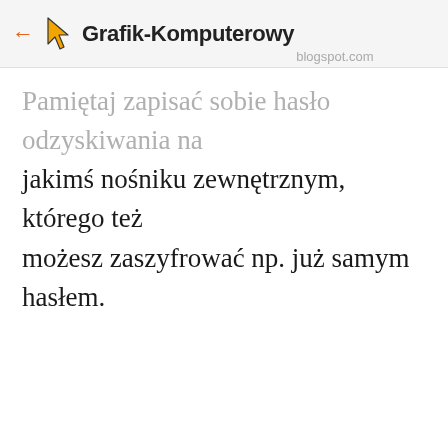Grafik-Komputerowy blogspot.com
Pamiętaj zapisać sobie hasło odzyskiwania na jakimś nośniku zewnętrznym, którego też możesz zaszyfrować np. już samym hasłem.